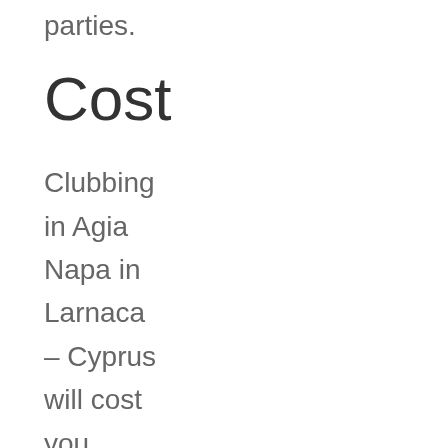parties.
Cost
Clubbing in Agia Napa in Larnaca – Cyprus will cost you about CYP?8 for entry fees plus around CYP?